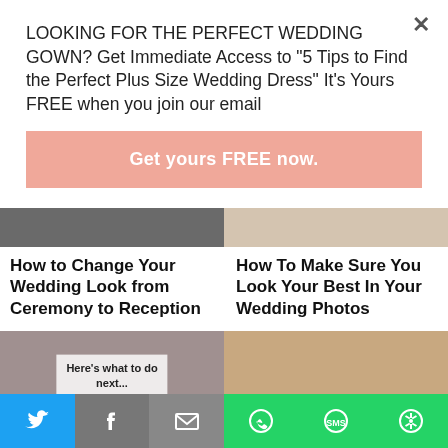LOOKING FOR THE PERFECT WEDDING GOWN? Get Immediate Access to "5 Tips to Find the Perfect Plus Size Wedding Dress" It's Yours FREE when you join our email
Get yours FREE now.
[Figure (photo): Two wedding-related photos side by side (partially visible, top portions)]
How to Change Your Wedding Look from Ceremony to Reception
How To Make Sure You Look Your Best In Your Wedding Photos
[Figure (photo): Two more wedding-related photos side by side, the left one has overlay text 'Here's what to do next...']